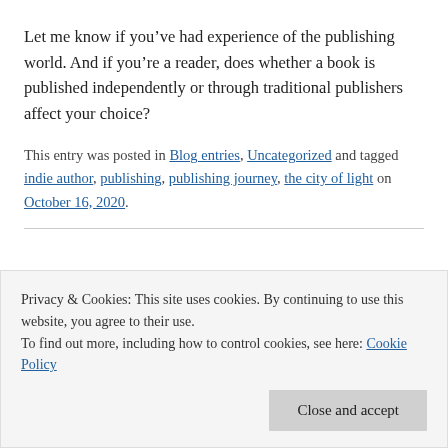Let me know if you’ve had experience of the publishing world. And if you’re a reader, does whether a book is published independently or through traditional publishers affect your choice?
This entry was posted in Blog entries, Uncategorized and tagged indie author, publishing, publishing journey, the city of light on October 16, 2020.
Privacy & Cookies: This site uses cookies. By continuing to use this website, you agree to their use. To find out more, including how to control cookies, see here: Cookie Policy